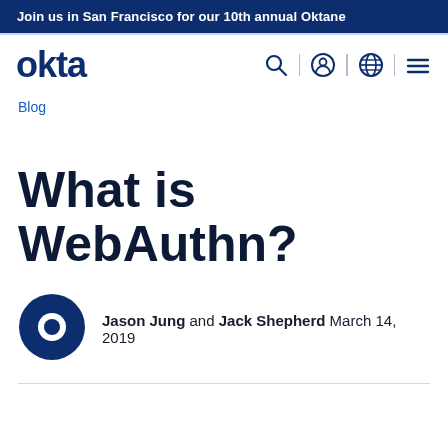Join us in San Francisco for our 10th annual Oktane
[Figure (logo): Okta logo in dark navy blue, bold sans-serif wordmark]
Blog
What is WebAuthn?
Jason Jung and Jack Shepherd March 14, 2019